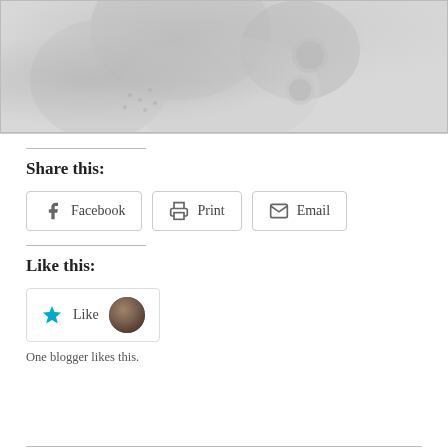[Figure (photo): Grayscale photo of a person, cropped, showing upper body area with decorative clothing details]
Share this:
Facebook  Print  Email
Like this:
Like  One blogger likes this.